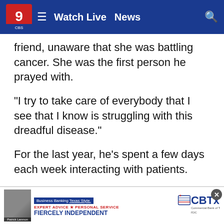Watch Live  News
friend, unaware that she was battling cancer. She was the first person he prayed with.
"I try to take care of everybody that I see that I know is struggling with this dreadful disease."
For the last year, he's spent a few days each week interacting with patients.
[Figure (screenshot): CBTx Commercial Bank of Texas advertisement banner with photo of Jim Roper, Business Banking Texas Style tagline, Expert Advice * Personal Service, Fiercely Independent]
"I tell them that I'm a cancer survivor, that I've sat in the chair th
[Figure (screenshot): Bottom sticky CBTx advertisement with photo of Patrick Lanmon, Business Banking Texas Style, Expert Advice * Personal Service, Fiercely Independent, CBTx logo]